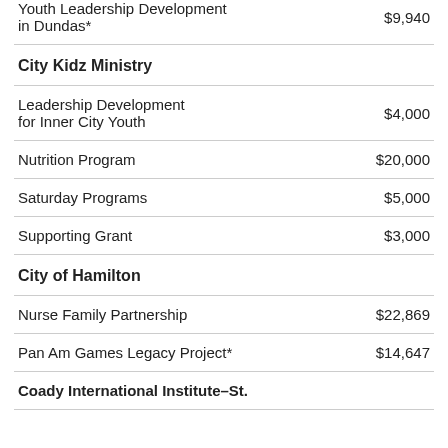| Program | Amount |
| --- | --- |
| Youth Leadership Development in Dundas* | $9,940 |
| City Kidz Ministry |  |
| Leadership Development for Inner City Youth | $4,000 |
| Nutrition Program | $20,000 |
| Saturday Programs | $5,000 |
| Supporting Grant | $3,000 |
| City of Hamilton |  |
| Nurse Family Partnership | $22,869 |
| Pan Am Games Legacy Project* | $14,647 |
| Coady International Institute–St. |  |